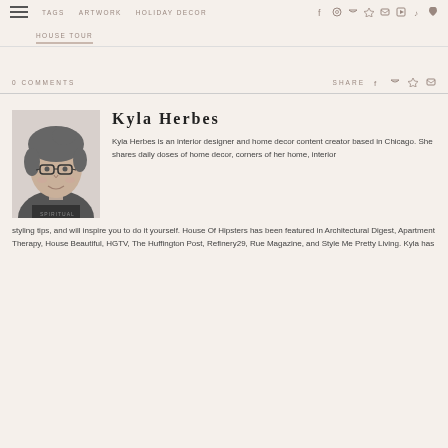TAGS   ARTWORK   HOLIDAY DECOR   HOUSE TOUR
0 COMMENTS   SHARE
Kyla Herbes
[Figure (photo): Black and white portrait photo of Kyla Herbes, a woman with glasses and hair up, wearing a dark shirt, smiling slightly]
Kyla Herbes is an interior designer and home decor content creator based in Chicago. She shares daily doses of home decor, corners of her home, interior styling tips, and will inspire you to do it yourself. House Of Hipsters has been featured in Architectural Digest, Apartment Therapy, House Beautiful, HGTV, The Huffington Post, Refinery29, Rue Magazine, and Style Me Pretty Living. Kyla has